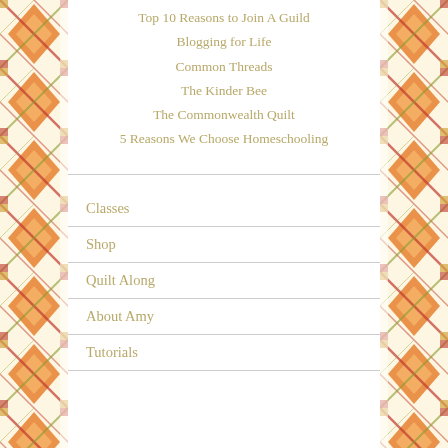Top 10 Reasons to Join A Guild
Blogging for Life
Common Threads
The Kinder Bee
The Commonwealth Quilt
5 Reasons We Choose Homeschooling
Classes
Shop
Quilt Along
About Amy
Tutorials